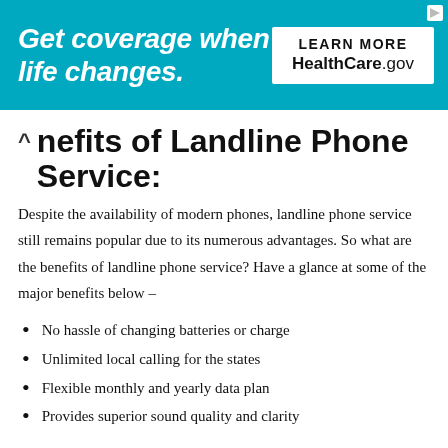[Figure (screenshot): Advertisement banner for HealthCare.gov with teal background. Text: 'Get coverage when life changes.' with a 'LEARN MORE / HealthCare.gov' button on the right.]
Benefits of Landline Phone Service:
Despite the availability of modern phones, landline phone service still remains popular due to its numerous advantages. So what are the benefits of landline phone service? Have a glance at some of the major benefits below –
No hassle of changing batteries or charge
Unlimited local calling for the states
Flexible monthly and yearly data plan
Provides superior sound quality and clarity